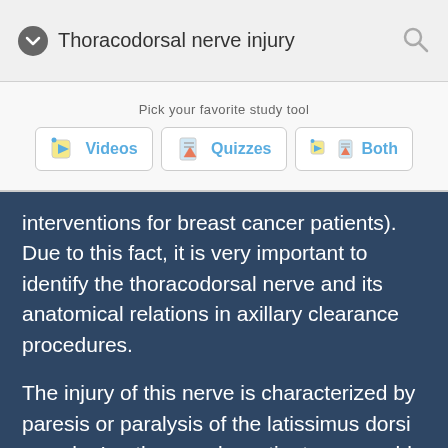Thoracodorsal nerve injury
Pick your favorite study tool
Videos | Quizzes | Both
interventions for breast cancer patients). Due to this fact, it is very important to identify the thoracodorsal nerve and its anatomical relations in axillary clearance procedures.

The injury of this nerve is characterized by paresis or paralysis of the latissimus dorsi muscle. In other words, patients are unable to perform full extension, rotation, and adduction of the arm. In addition, the thoracodorsal nerve is often used as a nerve